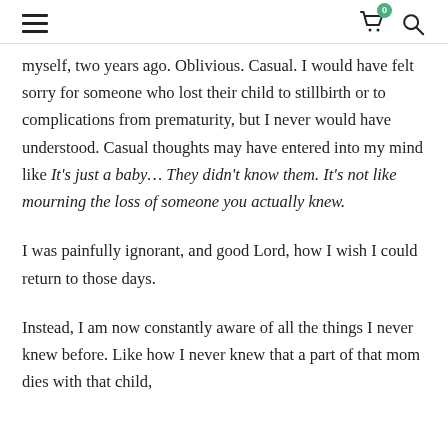[hamburger menu] [cart 0] [search]
myself, two years ago. Oblivious. Casual. I would have felt sorry for someone who lost their child to stillbirth or to complications from prematurity, but I never would have understood. Casual thoughts may have entered into my mind like It’s just a baby… They didn’t know them. It’s not like mourning the loss of someone you actually knew.
I was painfully ignorant, and good Lord, how I wish I could return to those days.
Instead, I am now constantly aware of all the things I never knew before. Like how I never knew that a part of that mom dies with that child,